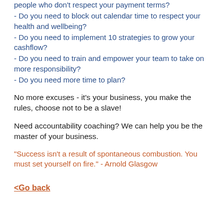people who don't respect your payment terms?
- Do you need to block out calendar time to respect your health and wellbeing?
- Do you need to implement 10 strategies to grow your cashflow?
- Do you need to train and empower your team to take on more responsibility?
- Do you need more time to plan?
No more excuses - it's your business, you make the rules, choose not to be a slave!
Need accountability coaching? We can help you be the master of your business.
"Success isn't a result of spontaneous combustion. You must set yourself on fire." - Arnold Glasgow
<Go back